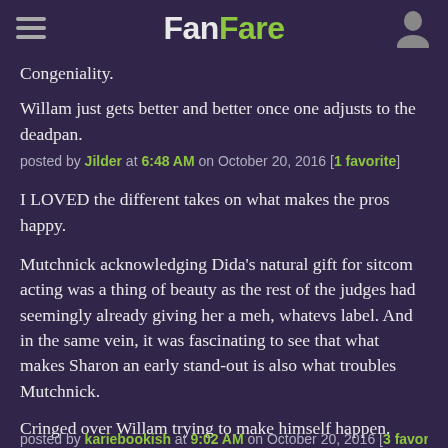FanFare
Congeniality.
Willam just gets better and better once one adjusts to the deadpan.
posted by Jilder at 6:48 AM on October 20, 2016 [1 favorite]
I LOVED the different takes on what makes the pros happy.
Mutchnick acknowledging Dida's natural gift for sitcom acting was a thing of beauty as the rest of the judges had seemingly already giving her a meh, whatevs label. And in the same vein, it was fascinating to see that what makes Sharon an early stand-out is also what troubles Mutchnick.
Cringed over Willam trying to make himself happen.
posted by kariebookish at 9:02 AM on October 20, 2016 [3 favorites]